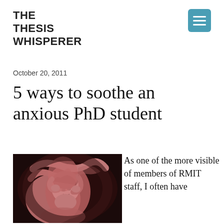THE THESIS WHISPERER
October 20, 2011
5 ways to soothe an anxious PhD student
[Figure (photo): Classical sculpture of two intertwined figures, one comforting the other, rendered in pink terracotta tones against a dark background.]
As one of the more visible of members of RMIT staff, I often have